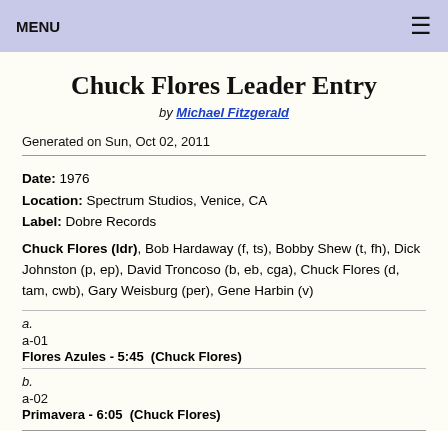MENU ≡
Chuck Flores Leader Entry
by Michael Fitzgerald
Generated on Sun, Oct 02, 2011
Date: 1976
Location: Spectrum Studios, Venice, CA
Label: Dobre Records
Chuck Flores (ldr), Bob Hardaway (f, ts), Bobby Shew (t, fh), Dick Johnston (p, ep), David Troncoso (b, eb, cga), Chuck Flores (d, tam, cwb), Gary Weisburg (per), Gene Harbin (v)
a.
a-01
Flores Azules - 5:45  (Chuck Flores)
b.
a-02
Primavera - 6:05  (Chuck Flores)